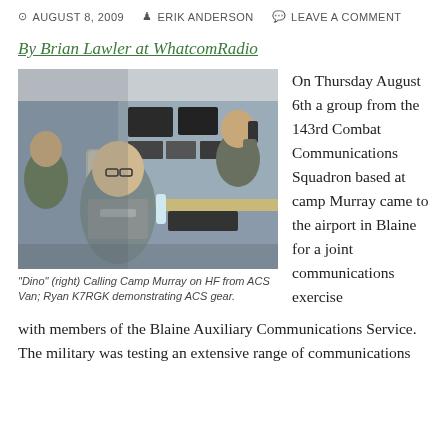AUGUST 8, 2009  ERIK ANDERSON  LEAVE A COMMENT
By Brian Lawler at WhatcomRadio
[Figure (photo): Interior of an ACS van showing people at radio/communications equipment. A man in a grey shirt sits in the foreground; a person in military uniform is visible at right using radio equipment. Multiple monitors, keyboards, and radio gear are visible.]
"Dino" (right) Calling Camp Murray on HF from ACS Van; Ryan K7RGK demonstrating ACS gear.
On Thursday August 6th a group from the 143rd Combat Communications Squadron based at camp Murray came to the airport in Blaine for a joint communications exercise with members of the Blaine Auxiliary Communications Service. The military was testing an extensive range of communications